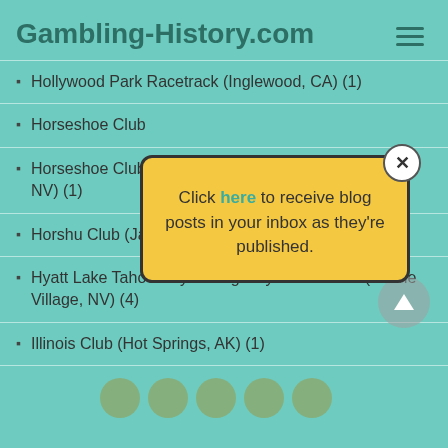Gambling-History.com
Hollywood Park Racetrack (Inglewood, CA) (1)
Horseshoe Club…
Horseshoe Club… & Hotel (Las Vegas, NV) (1)
Horshu Club (Jackpot, NV) (1)
Hyatt Lake Tahoe / Hyatt Regency Lake Tahoe (Incline Village, NV) (4)
Illinois Club (Hot Springs, AK) (1)
[Figure (screenshot): Popup modal with yellow background saying 'Click here to receive blog posts in your inbox as they're published.' with a close X button.]